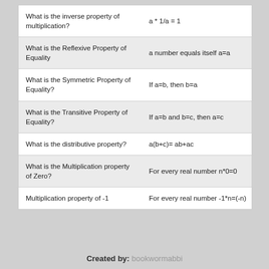| Question | Answer |
| --- | --- |
| What is the inverse property of multiplication? | a * 1/a = 1 |
| What is the Reflexive Property of Equality | a number equals itself a=a |
| What is the Symmetric Property of Equality? | If a=b, then b=a |
| What is the Transitive Property of Equality? | If a=b and b=c, then a=c |
| What is the distributive property? | a(b+c)= ab+ac |
| What is the Multiplication property of Zero? | For every real number n*0=0 |
| Multiplication property of -1 | For every real number -1*n=(-n) |
Created by: bookwormabbi